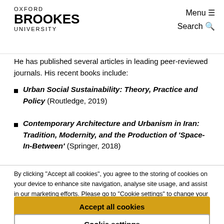OXFORD BROOKES UNIVERSITY — Menu ☰ Search 🔍
He has published several articles in leading peer-reviewed journals. His recent books include:
Urban Social Sustainability: Theory, Practice and Policy (Routledge, 2019)
Contemporary Architecture and Urbanism in Iran: Tradition, Modernity, and the Production of 'Space-In-Between' (Springer, 2018)
By clicking "Accept all cookies", you agree to the storing of cookies on your device to enhance site navigation, analyse site usage, and assist in our marketing efforts. Please go to "Cookie settings" to change your preferences. See our cookie policy.